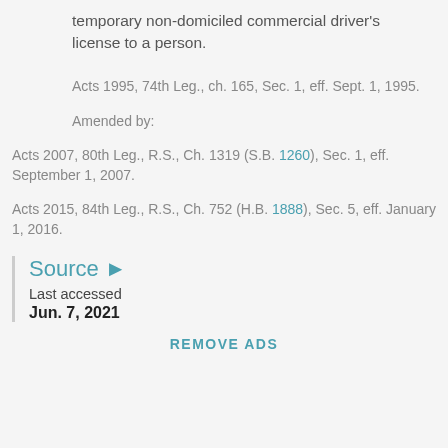temporary non-domiciled commercial driver's license to a person.
Acts 1995, 74th Leg., ch. 165, Sec. 1, eff. Sept. 1, 1995.
Amended by:
Acts 2007, 80th Leg., R.S., Ch. 1319 (S.B. 1260), Sec. 1, eff. September 1, 2007.
Acts 2015, 84th Leg., R.S., Ch. 752 (H.B. 1888), Sec. 5, eff. January 1, 2016.
Source ▶
Last accessed
Jun. 7, 2021
REMOVE ADS